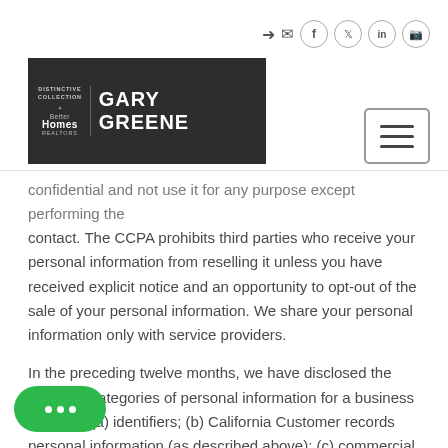[Figure (logo): Gary Greene Better Homes and Gardens Distinctive Collection real estate logo on dark background]
confidential and not use it for any purpose except performing the contact. The CCPA prohibits third parties who receive your personal information from reselling it unless you have received explicit notice and an opportunity to opt-out of the sale of your personal information. We share your personal information only with service providers.
In the preceding twelve months, we have disclosed the following categories of personal information for a business purpose: (a) identifiers; (b) California Customer records personal information (as described above); (c) commercial information; (d) internet or other similar network activity; and (e) inferences drawn from other information. The only category of third parties with whom we share your personal information is service providers.